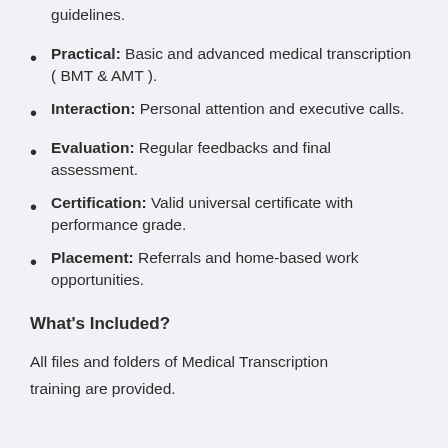guidelines.
Practical: Basic and advanced medical transcription ( BMT & AMT ).
Interaction: Personal attention and executive calls.
Evaluation: Regular feedbacks and final assessment.
Certification: Valid universal certificate with performance grade.
Placement: Referrals and home-based work opportunities.
What's Included?
All files and folders of Medical Transcription training are provided.